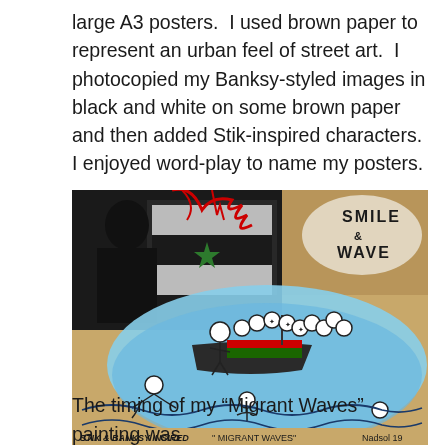large A3 posters.  I used brown paper to represent an urban feel of street art.  I photocopied my Banksy-styled images in black and white on some brown paper and then added Stik-inspired characters.  I enjoyed word-play to name my posters.
[Figure (photo): A student artwork on brown paper combining Banksy-styled black and white photocopied images with Stik-inspired stick figures. The piece shows a boat overloaded with stick-figure people on blue waves, with a black and white image of a dictator figure on a Syrian flag on the upper left, red paint splashes, and text reading 'SMILE & WAVE'. Bottom text reads: STIK & BANKSY INSIRED  "MIGRANT WAVES"  Nadsol 19]
The timing of my “Migrant Waves” painting was